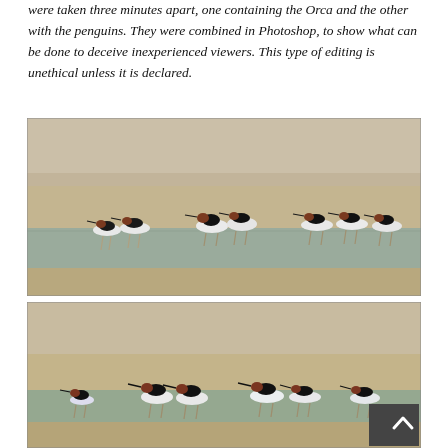were taken three minutes apart, one containing the Orca and the other with the penguins. They were combined in Photoshop, to show what can be done to deceive inexperienced viewers. This type of editing is unethical unless it is declared.
[Figure (photo): A flock of avocet birds (black and white wading birds with long legs and upturned bills) wading and walking on a sandy, shallow wetland area with rocky shoreline in the background.]
[Figure (photo): A second photo of a similar flock of avocet birds wading along a sandy, shallow wetland shoreline, taken from a slightly different angle or time.]